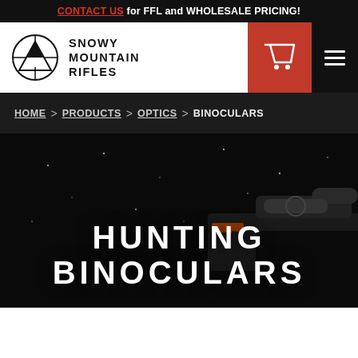CONTACT US for FFL and WHOLESALE PRICING!
[Figure (logo): Snowy Mountain Rifles logo with mountain/crosshair emblem and brand name]
HOME > PRODUCTS > OPTICS > BINOCULARS
HUNTING BINOCULARS
[Figure (photo): Dark background photo showing rifle with scope and orange/wood accents]